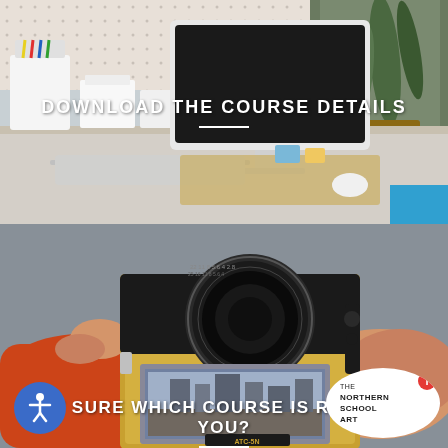[Figure (photo): Top half: photo of a modern desk workspace with an Apple iMac computer, MacBook laptop, white desk organizers, pencils, and a snake plant and other green plants in the background. Bright, clean, white workspace aesthetic.]
DOWNLOAD THE COURSE DETAILS
[Figure (photo): Bottom half: photo of hands holding a medium format film camera (Hasselblad-style with golden body), close-up showing the lens markings and viewfinder. Person wearing a red/orange sleeve. Gray background.]
NOT SURE WHICH COURSE IS RIGHT FOR YOU?